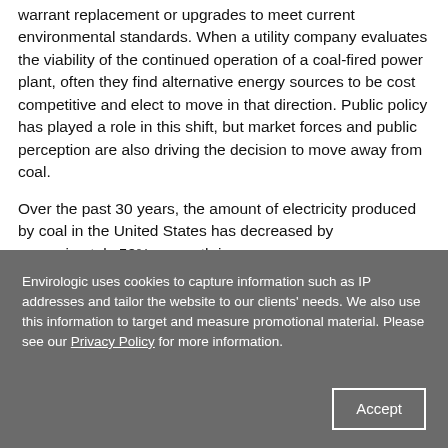warrant replacement or upgrades to meet current environmental standards. When a utility company evaluates the viability of the continued operation of a coal-fired power plant, often they find alternative energy sources to be cost competitive and elect to move in that direction. Public policy has played a role in this shift, but market forces and public perception are also driving the decision to move away from coal.
Over the past 30 years, the amount of electricity produced by coal in the United States has decreased by approximately 50% – growth in
Envirologic uses cookies to capture information such as IP addresses and tailor the website to our clients' needs. We also use this information to target and measure promotional material. Please see our Privacy Policy for more information.